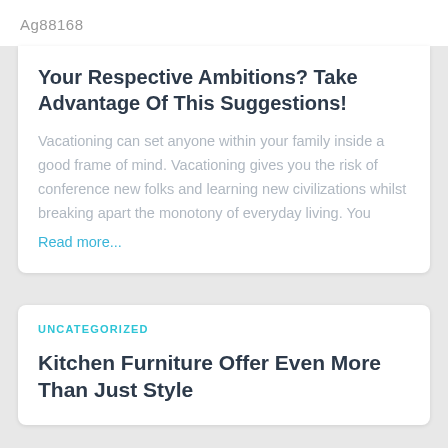Ag88168
Your Respective Ambitions? Take Advantage Of This Suggestions!
Vacationing can set anyone within your family inside a good frame of mind. Vacationing gives you the risk of conference new folks and learning new civilizations whilst breaking apart the monotony of everyday living. You
Read more...
UNCATEGORIZED
Kitchen Furniture Offer Even More Than Just Style